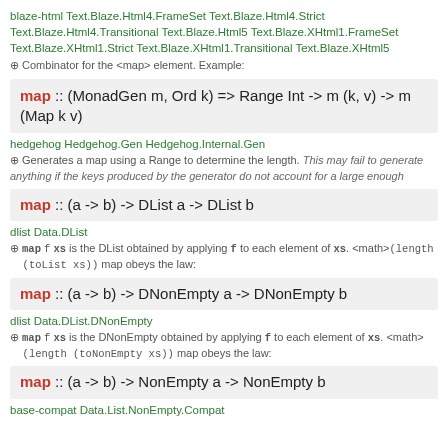blaze-html Text.Blaze.Html4.FrameSet Text.Blaze.Html4.Strict Text.Blaze.Html4.Transitional Text.Blaze.Html5 Text.Blaze.XHtml1.FrameSet Text.Blaze.XHtml1.Strict Text.Blaze.XHtml1.Transitional Text.Blaze.XHtml5
⊕ Combinator for the <map> element. Example:
map :: (MonadGen m, Ord k) => Range Int -> m (k, v) -> m (Map k v)
hedgehog Hedgehog.Gen Hedgehog.Internal.Gen
⊕ Generates a map using a Range to determine the length. This may fail to generate anything if the keys produced by the generator do not account for a large enough
map :: (a -> b) -> DList a -> DList b
dlist Data.DList
⊕ map f xs is the DList obtained by applying f to each element of xs. <math>(length (toList xs)) map obeys the law:
map :: (a -> b) -> DNonEmpty a -> DNonEmpty b
dlist Data.DList.DNonEmpty
⊕ map f xs is the DNonEmpty obtained by applying f to each element of xs. <math>(length (toNonEmpty xs)) map obeys the law:
map :: (a -> b) -> NonEmpty a -> NonEmpty b
base-compat Data.List.NonEmpty.Compat